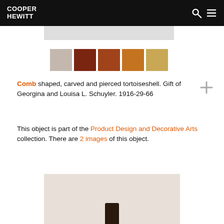COOPER HEWITT
[Figure (photo): Top portion of a comb object photographed against light gray background]
[Figure (infographic): Five color swatches showing beige, dark brown, medium brown, orange-brown, and tan colors extracted from the object image]
Comb shaped, carved and pierced tortoiseshell. Gift of Georgina and Louisa L. Schuyler. 1916-29-66
This object is part of the Product Design and Decorative Arts collection. There are 2 images of this object.
[Figure (photo): Bottom portion of tortoiseshell comb photographed against light background, showing dark comb teeth]